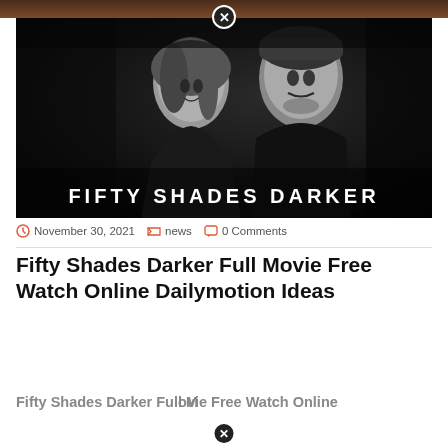[Figure (photo): Black and white movie promotional image for Fifty Shades Darker showing a woman and man in close proximity with the text 'FIFTY SHADES DARKER' overlaid at the bottom.]
November 30, 2021  news  0 Comments
Fifty Shades Darker Full Movie Free Watch Online Dailymotion Ideas
Fifty Shades Darker Full Movie Free Watch Online